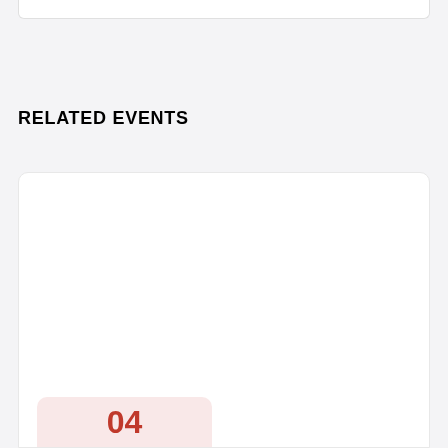RELATED EVENTS
[Figure (other): White event card placeholder with a pink date badge showing the number 04 at the bottom left]